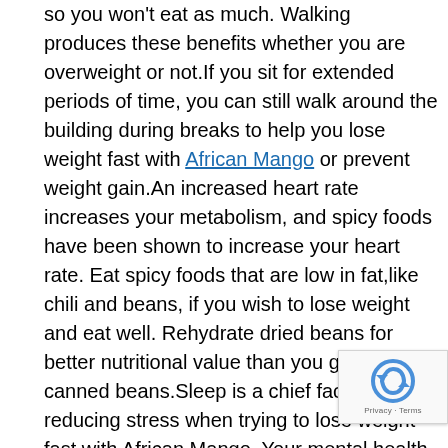so you won't eat as much. Walking produces these benefits whether you are overweight or not.If you sit for extended periods of time, you can still walk around the building during breaks to help you lose weight fast with African Mango or prevent weight gain.An increased heart rate increases your metabolism, and spicy foods have been shown to increase your heart rate. Eat spicy foods that are low in fat,like chili and beans, if you wish to lose weight and eat well. Rehydrate dried beans for better nutritional value than you get from canned beans.Sleep is a chief factor in reducing stress when trying to lose weight fast with African Mango. Your mental health is important to your physical health, so get an adequate amount of sleep each night.If you sleep more than that or less than that, you are at a higher risk of being overweight.Too much sodium can sabotage your weight loss plans. If you have a high salt diet it can make you retain in your legs or feet. This can ruin your diet, as well as make you look like you're actually putting on weight! It also makes